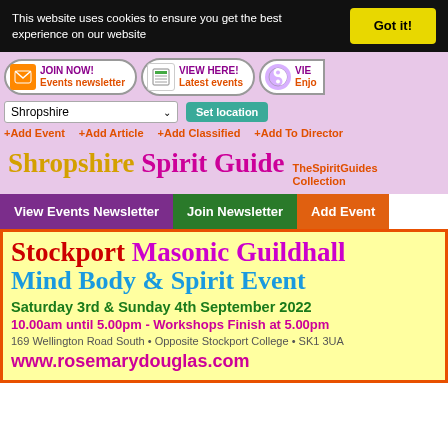This website uses cookies to ensure you get the best experience on our website
Got it!
[Figure (screenshot): Navigation bar with JOIN NOW Events newsletter, VIEW HERE Latest events, and partially visible third button]
Shropshire (dropdown) Set location
+Add Event  +Add Article  +Add Classified  +Add To Directory
Shropshire Spirit Guide  TheSpiritGuides Collection
View Events Newsletter  Join Newsletter  Add Event
Stockport Masonic Guildhall Mind Body & Spirit Event Saturday 3rd & Sunday 4th September 2022 10.00am until 5.00pm - Workshops Finish at 5.00pm 169 Wellington Road South • Opposite Stockport College • SK1 3UA www.rosemarydouglas.com